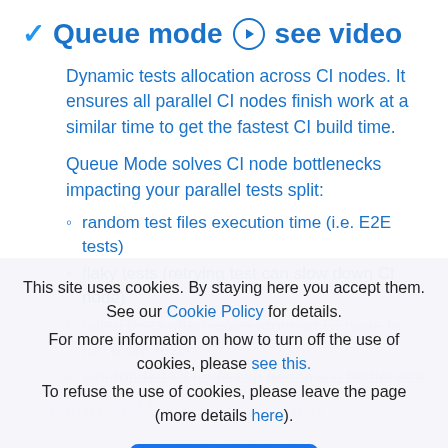Queue mode ▶ see video
Dynamic tests allocation across CI nodes. It ensures all parallel CI nodes finish work at a similar time to get the fastest CI build time.
Queue Mode solves CI node bottlenecks impacting your parallel tests split:
random test files execution time (i.e. E2E tests)
flaky tests (retrying test can slow down CI node)
failed tests often leave room on CI node to run more tests
overloaded CI node can become a bottleneck
This site uses cookies. By staying here you accept them. See our Cookie Policy for details. For more information on how to turn off the use of cookies, please see this. To refuse the use of cookies, please leave the page (more details here).
I Agree